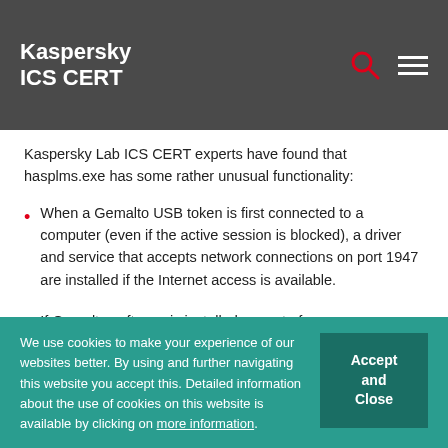Kaspersky ICS CERT
Kaspersky Lab ICS CERT experts have found that hasplms.exe has some rather unusual functionality:
When a Gemalto USB token is first connected to a computer (even if the active session is blocked), a driver and service that accepts network connections on port 1947 are installed if the Internet access is available.
We use cookies to make your experience of our websites better. By using and further navigating this website you accept this. Detailed information about the use of cookies on this website is available by clicking on more information.